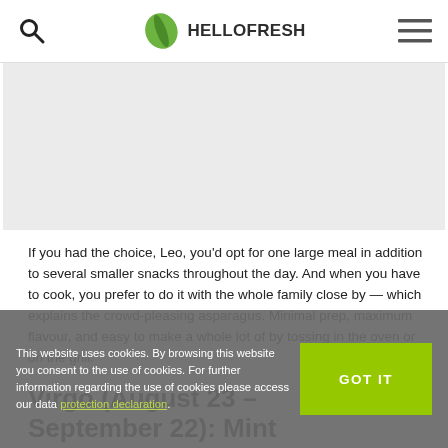HelloFresh
[Figure (photo): Gray placeholder image strip for a food photo]
If you had the choice, Leo, you'd opt for one large meal in addition to several smaller snacks throughout the day. And when you have to cook, you prefer to do it with the whole family close by — which explains the crowd-pleasing asparagus. Minimal prep, maximum flavour, and easy to make a whole lot of by tossing in the oven or on the grill.
Virgo (August 23 – September 22): Mint
This website uses cookies. By browsing this website you consent to the use of cookies. For further information regarding the use of cookies please access our data protection declaration.